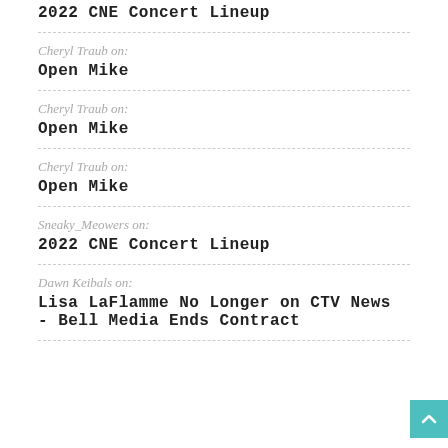2022 CNE Concert Lineup
Cheryl Traub on: Open Mike
Cheryl Traub on: Open Mike
Cheryl Traub on: Open Mike
Sneaky_Meowers on: 2022 CNE Concert Lineup
Dawn Keibals on: Lisa LaFlamme No Longer on CTV News - Bell Media Ends Contract